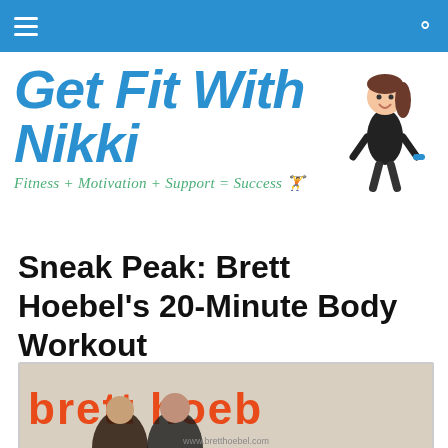Get Fit With Nikki — navigation bar
[Figure (logo): Get Fit With Nikki logo with blue bold italic text 'Get Fit With Nikki', green italic tagline 'Fitness + Motivation + Support = Success', and a cartoon female figure holding dumbbells on the right]
Sneak Peak: Brett Hoebel's 20-Minute Body Workout
[Figure (photo): Photograph showing two people (a woman and a man) in front of a backdrop with 'brett hoebel' written in large orange/red letters and 'www.bretthoebel.com' watermark]